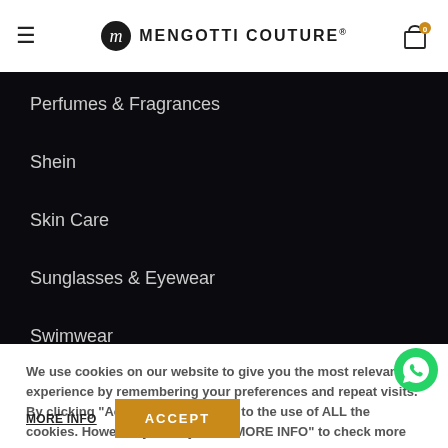MENGOTTI COUTURE®
Perfumes & Fragrances
Shein
Skin Care
Sunglasses & Eyewear
Swimwear
Womens Lingerie
We use cookies on our website to give you the most relevant experience by remembering your preferences and repeat visits. By clicking "Accept", you consent to the use of ALL the cookies. However, you may visit "MORE INFO" to check more information about used cookies.
MORE INFO
ACCEPT